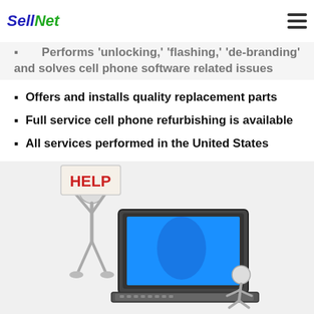SellNet logo and hamburger menu
Performs 'unlocking,' 'flashing,' 'de-branding' and solves cell phone software related issues
Offers and installs quality replacement parts
Full service cell phone refurbishing is available
All services performed in the United States
[Figure (illustration): A 3D stick figure holding a HELP sign standing next to a laptop with another figure sitting at the base]